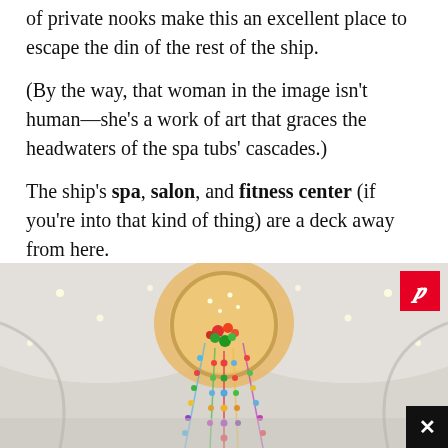of private nooks make this an excellent place to escape the din of the rest of the ship.
(By the way, that woman in the image isn't human—she's a work of art that graces the headwaters of the spa tubs' cascades.)
The ship's spa, salon, and fitness center (if you're into that kind of thing) are a deck away from here.
[Figure (photo): Interior photo of a ship's atrium or lobby area showing white curved ceiling with recessed lights, and a colorful hanging chandelier/art installation with multicolored beads or crystals cascading from a circular archway. A Pinterest save button is visible in the top right corner and a close (X) button at the bottom right.]